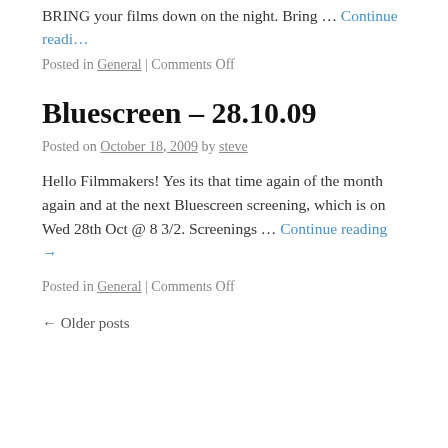BRING your films down on the night. Bring … Continue reading
Posted in General | Comments Off
Bluescreen – 28.10.09
Posted on October 18, 2009 by steve
Hello Filmmakers! Yes its that time again of the month again and at the next Bluescreen screening, which is on Wed 28th Oct @ 8 3/2. Screenings … Continue reading →
Posted in General | Comments Off
← Older posts